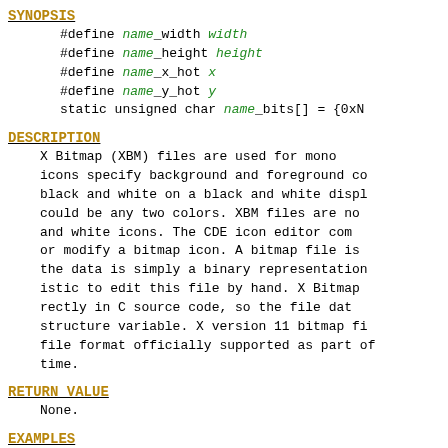SYNOPSIS
#define name_width width
#define name_height height
#define name_x_hot x
#define name_y_hot y
static unsigned char name_bits[] = {0xN
DESCRIPTION
X Bitmap (XBM) files are used for mono icons specify background and foreground c black and white on a black and white displ could be any two colors. XBM files are no and white icons. The CDE icon editor co or modify a bitmap icon. A bitmap file i the data is simply a binary representatio istic to edit this file by hand. X Bitma rectly in C source code, so the file da structure variable. X version 11 bitmap f file format officially supported as part o time.
RETURN VALUE
None.
EXAMPLES
The following is an example of a bitmap fi
#define julie.bm_width 18